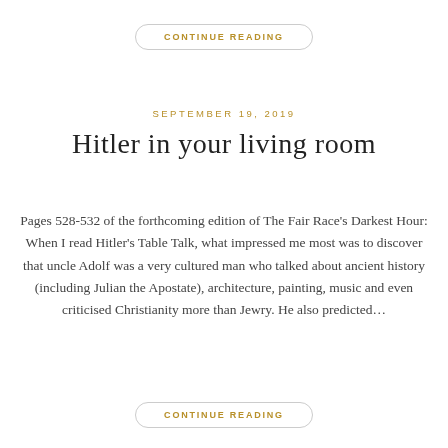CONTINUE READING
SEPTEMBER 19, 2019
Hitler in your living room
Pages 528-532 of the forthcoming edition of The Fair Race's Darkest Hour: When I read Hitler's Table Talk, what impressed me most was to discover that uncle Adolf was a very cultured man who talked about ancient history (including Julian the Apostate), architecture, painting, music and even criticised Christianity more than Jewry. He also predicted…
CONTINUE READING